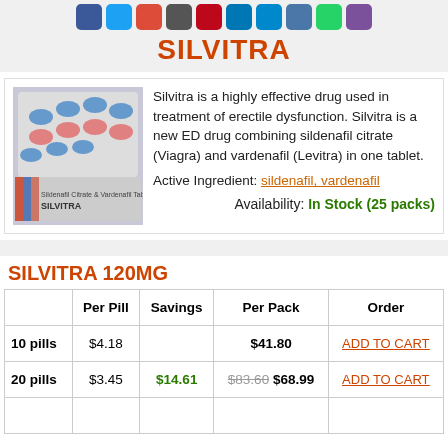[Figure (other): Social media sharing icons row: Facebook, Twitter, Google+, Email, Pinterest, LinkedIn, Telegram, VK, WhatsApp, Viber]
SILVITRA
[Figure (photo): Product photo of Silvitra blister packs with blue and pink pills]
Silvitra is a highly effective drug used in treatment of erectile dysfunction. Silvitra is a new ED drug combining sildenafil citrate (Viagra) and vardenafil (Levitra) in one tablet.
Active Ingredient: sildenafil, vardenafil
Availability: In Stock (25 packs)
SILVITRA 120MG
|  | Per Pill | Savings | Per Pack | Order |
| --- | --- | --- | --- | --- |
| 10 pills | $4.18 |  | $41.80 | ADD TO CART |
| 20 pills | $3.45 | $14.61 | $83.60 $68.99 | ADD TO CART |